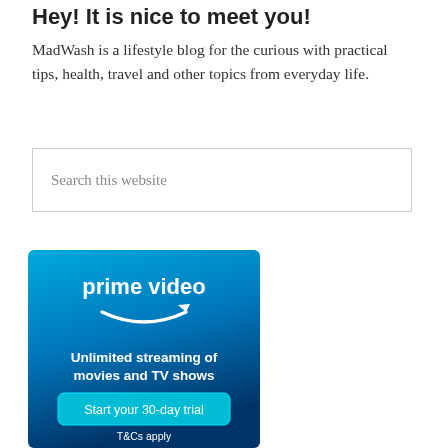Hey! It is nice to meet you!
MadWash is a lifestyle blog for the curious with practical tips, health, travel and other topics from everyday life.
Search this website
[Figure (infographic): Amazon Prime Video advertisement banner with blue gradient background. Text reads 'prime video' with Amazon smile arrow logo, 'Unlimited streaming of movies and TV shows', a teal 'Start your 30-day trial' button, and 'T&Cs apply' at the bottom.]